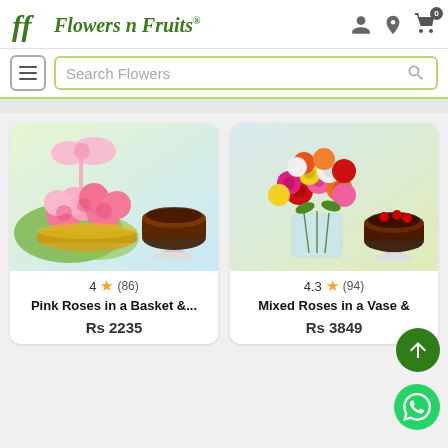[Figure (logo): FlowersnFruits logo with green stylized FF icon and italic green text]
Search Flowers
[Figure (photo): Pink roses in a basket arrangement with a chocolate cake]
4 ★ (86)
Pink Roses in a Basket &...
Rs 2235
[Figure (photo): Mixed roses in a glass vase with a chocolate cake]
4.3 ★ (94)
Mixed Roses in a Vase &
Rs 3849